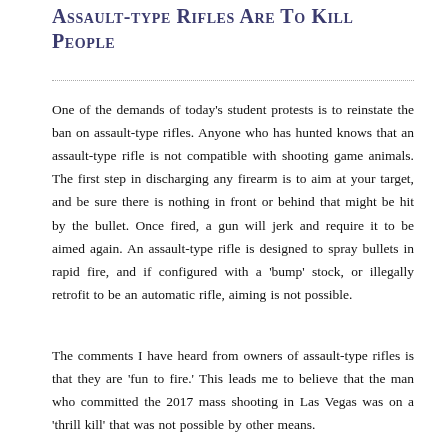Assault-type Rifles Are To Kill People
One of the demands of today's student protests is to reinstate the ban on assault-type rifles. Anyone who has hunted knows that an assault-type rifle is not compatible with shooting game animals. The first step in discharging any firearm is to aim at your target, and be sure there is nothing in front or behind that might be hit by the bullet. Once fired, a gun will jerk and require it to be aimed again. An assault-type rifle is designed to spray bullets in rapid fire, and if configured with a 'bump' stock, or illegally retrofit to be an automatic rifle, aiming is not possible.
The comments I have heard from owners of assault-type rifles is that they are 'fun to fire.' This leads me to believe that the man who committed the 2017 mass shooting in Las Vegas was on a 'thrill kill' that was not possible by other means.